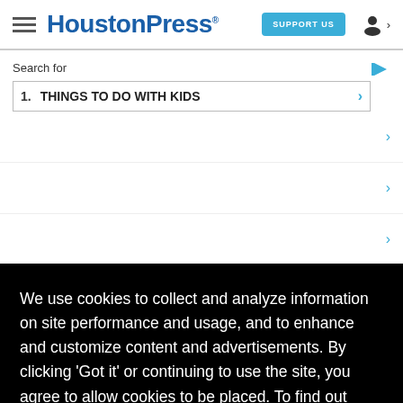HoustonPress
Search for
1. THINGS TO DO WITH KIDS
We use cookies to collect and analyze information on site performance and usage, and to enhance and customize content and advertisements. By clicking 'Got it' or continuing to use the site, you agree to allow cookies to be placed. To find out more, visit our cookies policy and our privacy policy.
Got it!
Lemons, Lawsuits and Lawyers